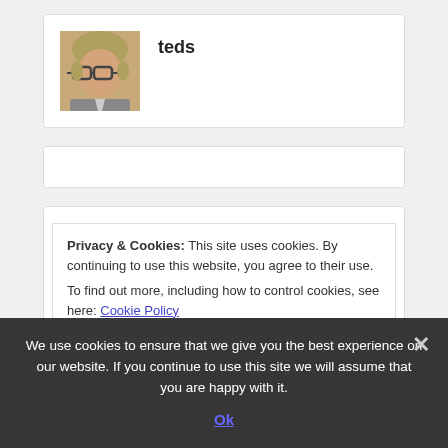[Figure (photo): Profile card showing a man with glasses and gray-blonde hair, username 'teds']
teds
[Figure (screenshot): Empty white card section]
Privacy & Cookies: This site uses cookies. By continuing to use this website, you agree to their use. To find out more, including how to control cookies, see here: Cookie Policy
We use cookies to ensure that we give you the best experience on our website. If you continue to use this site we will assume that you are happy with it.
Ok